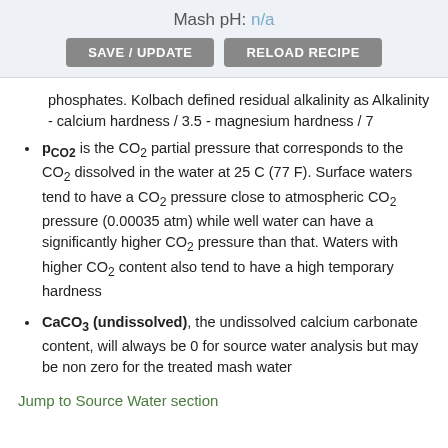Mash pH: n/a
phosphates. Kolbach defined residual alkalinity as Alkalinity - calcium hardness / 3.5 - magnesium hardness / 7
pCO2 is the CO2 partial pressure that corresponds to the CO2 dissolved in the water at 25 C (77 F). Surface waters tend to have a CO2 pressure close to atmospheric CO2 pressure (0.00035 atm) while well water can have a significantly higher CO2 pressure than that. Waters with higher CO2 content also tend to have a high temporary hardness
CaCO3 (undissolved), the undissolved calcium carbonate content, will always be 0 for source water analysis but may be non zero for the treated mash water
Jump to Source Water section